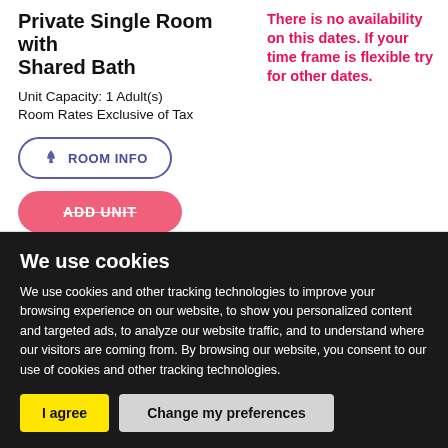Private Single Room with Shared Bath
Unit Capacity: 1 Adult(s)
Room Rates Exclusive of Tax
There is no availability on this dates. If your time frame is flexible try for other dates.
ROOM INFO
ADD UNIT
We use cookies
We use cookies and other tracking technologies to improve your browsing experience on our website, to show you personalized content and targeted ads, to analyze our website traffic, and to understand where our visitors are coming from. By browsing our website, you consent to our use of cookies and other tracking technologies.
I agree
Change my preferences